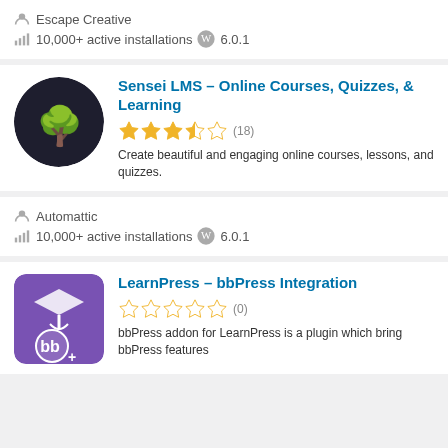Escape Creative
10,000+ active installations  6.0.1
Sensei LMS – Online Courses, Quizzes, & Learning
(18) stars rating
Create beautiful and engaging online courses, lessons, and quizzes.
Automattic
10,000+ active installations  6.0.1
LearnPress – bbPress Integration
(0) stars rating
bbPress addon for LearnPress is a plugin which bring bbPress features